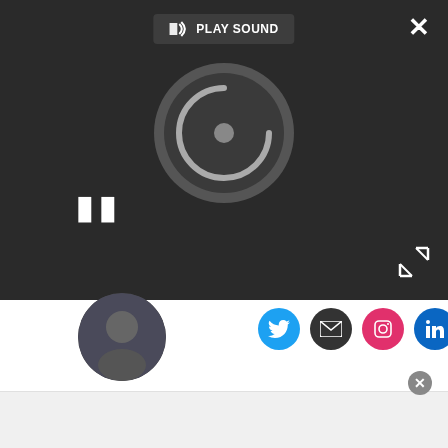[Figure (screenshot): Video player overlay with dark background, PLAY SOUND button, loading spinner circle, pause button (two vertical bars), close X button, and expand arrows icon.]
[Figure (illustration): Row of four circular social media icon buttons: Twitter (blue), Email (dark), Instagram (pink/red), LinkedIn (blue).]
John joined TechRadar over a decade ago as Staff Writer for Phones, and over the years has built up a vast knowledge of the tech industry. He's interviewed CEOs from some of the world's biggest tech firms, visited their HQs and has appeared on live TV and radio, including Sky News, BBC News, BBC World News, Al Jazeera, LBC and BBC Radio 4. Originally specializing in phones,